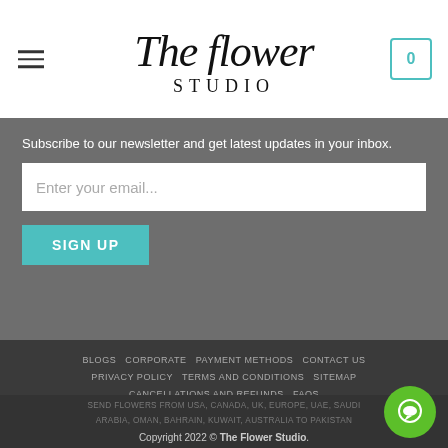The Flower Studio
Subscribe to our newsletter and get latest updates in your inbox.
Enter your email...
SIGN UP
BLOGS   CORPORATE   PAYMENT METHODS   CONTACT US   PRIVACY POLICY   TERMS AND CONDITIONS   SITEMAP   CANCELLATIONS AND REFUNDS   FAQS
SEND FLOWERS TO LAHORE
SEND FLOWERS TO RAWALPINDI AND ISLAMABAD
SEND FLOWERS TO KARACHI
SEND FLOWERS FROM USA, CANADA, UK, EUROPE, UAE, SAUDI ARABIA, OMAN, BAHRAIN, KUWAIT, AUSTRALIA TO PAKISTAN
Copyright 2022 © The Flower Studio.